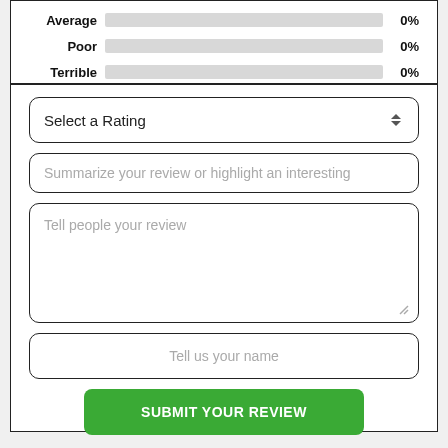Average 0%
Poor 0%
Terrible 0%
Select a Rating
Summarize your review or highlight an interesting
Tell people your review
Tell us your name
SUBMIT YOUR REVIEW